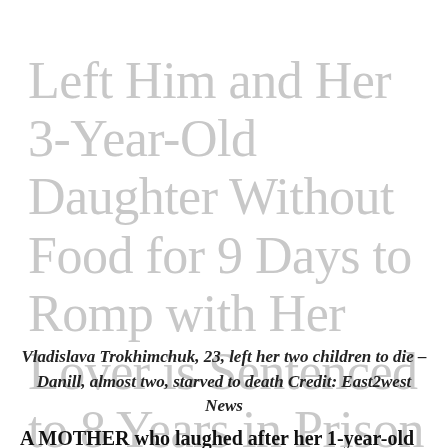Left Him and Her 3-Year-Old Daughter Without Food for 9 Days to Romp with Her Lover is Sentenced to 8 Years in Prison
Vladislava Trokhimchuk, 23, left her two children to die – Danill, almost two, starved to death Credit: East2west News
A MOTHER who laughed after her 1-year-old son died when she left him and his three-year-